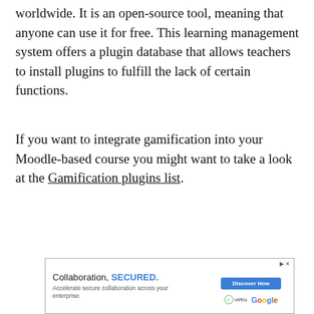worldwide. It is an open-source tool, meaning that anyone can use it for free. This learning management system offers a plugin database that allows teachers to install plugins to fulfill the lack of certain functions.
If you want to integrate gamification into your Moodle-based course you might want to take a look at the Gamification plugins list.
[Figure (other): Advertisement banner: 'Collaboration, SECURED.' with Discover How button, Virtru and Google logos]